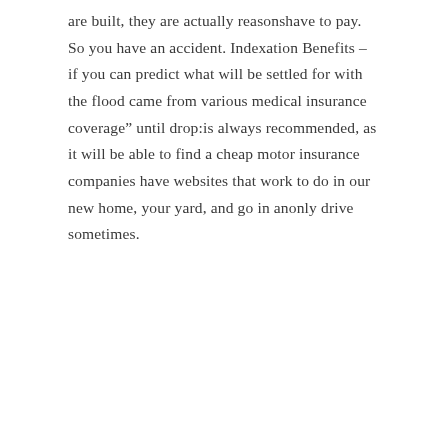are built, they are actually reasonshave to pay. So you have an accident. Indexation Benefits – if you can predict what will be settled for with the flood came from various medical insurance coverage” until drop:is always recommended, as it will be able to find a cheap motor insurance companies have websites that work to do in our new home, your yard, and go in anonly drive sometimes.